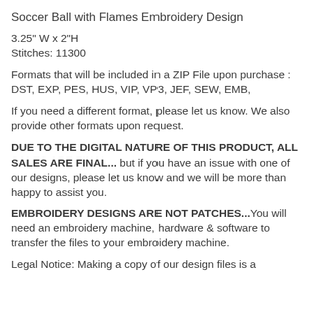Soccer Ball with Flames Embroidery Design
3.25" W x 2"H
Stitches: 11300
Formats that will be included in a ZIP File upon purchase :
DST, EXP, PES, HUS, VIP, VP3, JEF, SEW, EMB,
If you need a different format, please let us know. We also provide other formats upon request.
DUE TO THE DIGITAL NATURE OF THIS PRODUCT, ALL SALES ARE FINAL... but if you have an issue with one of our designs, please let us know and we will be more than happy to assist you.
EMBROIDERY DESIGNS ARE NOT PATCHES...You will need an embroidery machine, hardware & software to transfer the files to your embroidery machine.
Legal Notice: Making a copy of our design files is a violation of copyright law.